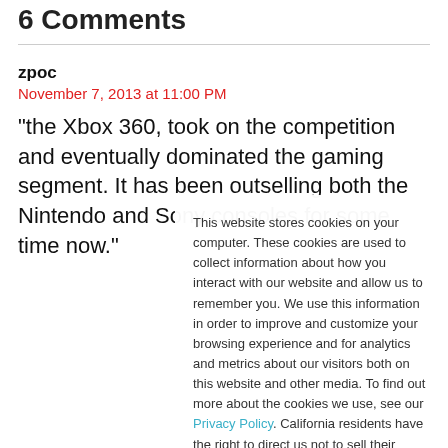6 Comments
zpoc
November 7, 2013 at 11:00 PM
"the Xbox 360, took on the competition and eventually dominated the gaming segment. It has been outselling both the Nintendo and Sony consoles for some time now."
This website stores cookies on your computer. These cookies are used to collect information about how you interact with our website and allow us to remember you. We use this information in order to improve and customize your browsing experience and for analytics and metrics about our visitors both on this website and other media. To find out more about the cookies we use, see our Privacy Policy. California residents have the right to direct us not to sell their personal information to third parties by filing an Opt-Out Request: Do Not Sell My Personal Info.
Accept